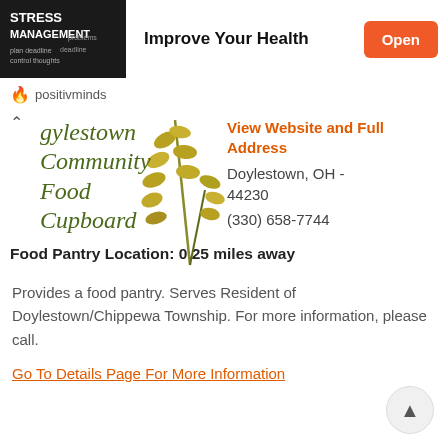[Figure (photo): Stress Management word cloud chalkboard image used as advertisement banner image]
Improve Your Health
Open
positivminds
gylestown Community Food Cupboard
View Website and Full Address
Doylestown, OH - 44230
(330) 658-7744
Food Pantry Location: 0.25 miles away
Provides a food pantry. Serves Resident of Doylestown/Chippewa Township. For more information, please call.
Go To Details Page For More Information